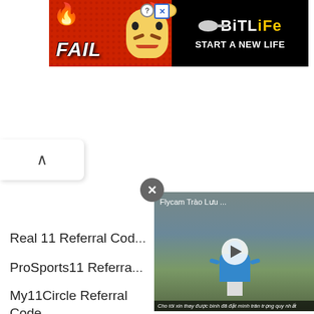[Figure (screenshot): BitLife advertisement banner with red background, cartoon character, FAIL text, and 'START A NEW LIFE' tagline on black panel]
[Figure (screenshot): Browser scroll-up button with upward caret arrow]
[Figure (screenshot): Video overlay with close X button and video player showing 'Flycam Trao Luu...' title, person in blue jacket with mountains, play button, and Vietnamese subtitle caption]
Real 11 Referral Cod...
ProSports11 Referra...
My11Circle Referral Code